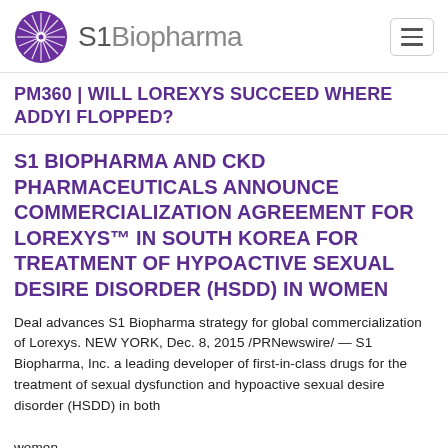S1 Biopharma
PM360 | WILL LOREXYS SUCCEED WHERE ADDYI FLOPPED?
S1 BIOPHARMA AND CKD PHARMACEUTICALS ANNOUNCE COMMERCIALIZATION AGREEMENT FOR LOREXYS™ IN SOUTH KOREA FOR TREATMENT OF HYPOACTIVE SEXUAL DESIRE DISORDER (HSDD) IN WOMEN
Deal advances S1 Biopharma strategy for global commercialization of Lorexys. NEW YORK, Dec. 8, 2015 /PRNewswire/ — S1 Biopharma, Inc. a leading developer of first-in-class drugs for the treatment of sexual dysfunction and hypoactive sexual desire disorder (HSDD) in both women …